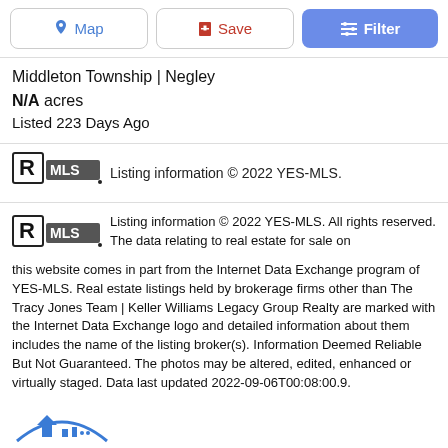Map | Save | Filter
Middleton Township | Negley
N/A acres
Listed 223 Days Ago
[Figure (logo): Realtor MLS logo]
Listing information © 2022 YES-MLS.
[Figure (logo): Realtor MLS logo (large section)]
Listing information © 2022 YES-MLS. All rights reserved. The data relating to real estate for sale on this website comes in part from the Internet Data Exchange program of YES-MLS. Real estate listings held by brokerage firms other than The Tracy Jones Team | Keller Williams Legacy Group Realty are marked with the Internet Data Exchange logo and detailed information about them includes the name of the listing broker(s). Information Deemed Reliable But Not Guaranteed. The photos may be altered, edited, enhanced or virtually staged. Data last updated 2022-09-06T00:08:00.9.
[Figure (logo): Blue logo at bottom]